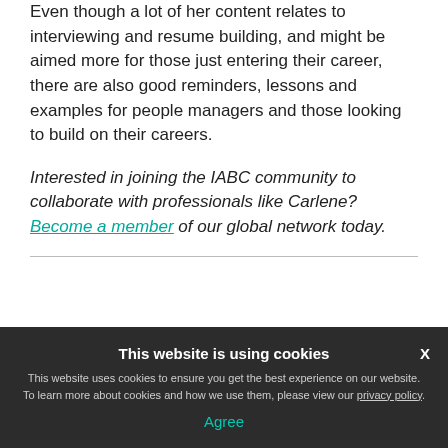O'Donnell, shares on TikTok (@j.t.odonnell). Even though a lot of her content relates to interviewing and resume building, and might be aimed more for those just entering their career, there are also good reminders, lessons and examples for people managers and those looking to build on their careers.
Interested in joining the IABC community to collaborate with professionals like Carlene? Become a member of our global network today.
This website is using cookies
This website uses cookies to ensure you get the best experience on our website. To learn more about cookies and how we use them, please view our privacy policy.
Agree